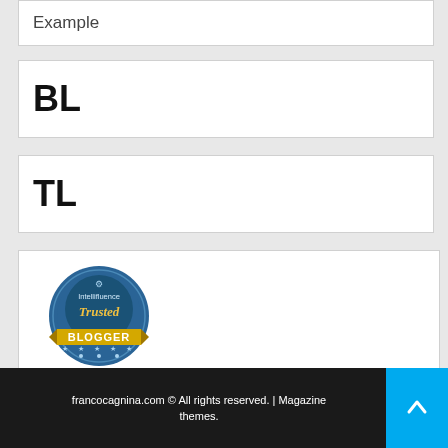Example
BL
TL
[Figure (logo): Intellifluence Trusted Blogger badge — circular blue badge with yellow ribbon banner reading BLOGGER]
francocagnina.com © All rights reserved. | Magazine themes.